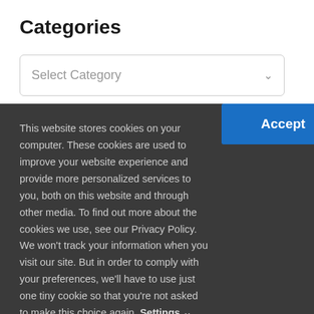Categories
[Figure (screenshot): A dropdown select box with placeholder text 'Select Category' and a chevron arrow on the right]
This website stores cookies on your computer. These cookies are used to improve your website experience and provide more personalized services to you, both on this website and through other media. To find out more about the cookies we use, see our Privacy Policy. We won't track your information when you visit our site. But in order to comply with your preferences, we'll have to use just one tiny cookie so that you're not asked to make this choice again. Settings
[Figure (screenshot): A blue 'Accept' button for cookie consent]